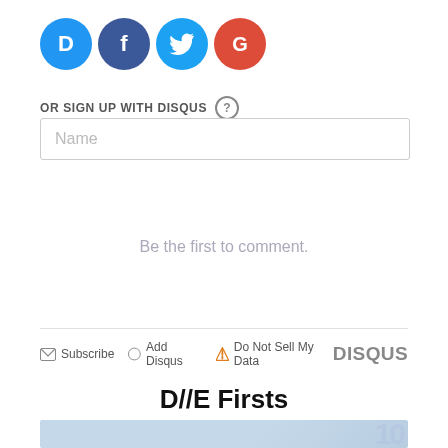[Figure (logo): Four social login icons: Disqus (blue D), Facebook (dark blue f), Twitter (light blue bird), Google (red G)]
OR SIGN UP WITH DISQUS ?
Name
Be the first to comment.
Subscribe  Add Disqus  Do Not Sell My Data  DISQUS
D//E Firsts
[Figure (photo): Partial image banner with light blue background and large faint numbers '10']